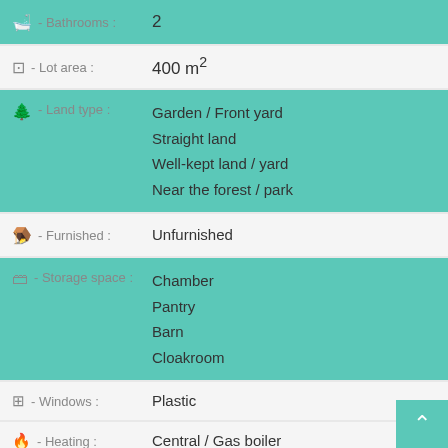| Feature | Value |
| --- | --- |
| Bathrooms | 2 |
| Lot area | 400 m² |
| Land type | Garden / Front yard
Straight land
Well-kept land / yard
Near the forest / park |
| Furnished | Unfurnished |
| Storage space | Chamber
Pantry
Barn
Cloakroom |
| Windows | Plastic |
| Heating | Central / Gas boiler |
| Water | District water supply |